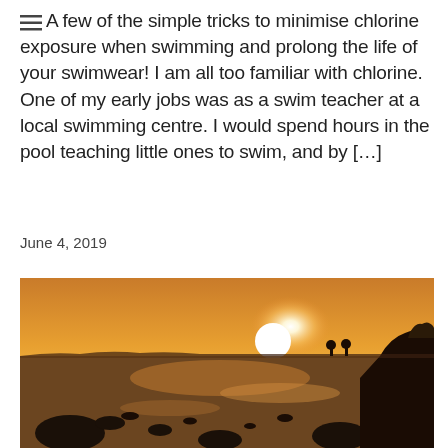A few of the simple tricks to minimise chlorine exposure when swimming and prolong the life of your swimwear! I am all too familiar with chlorine. One of my early jobs was as a swim teacher at a local swimming centre. I would spend hours in the pool teaching little ones to swim, and by […]
June 4, 2019
[Figure (photo): Beach sunset photo showing a rocky shoreline with shallow water puddles reflecting the setting sun. The sky is orange and yellow gradient with a bright white sun near the horizon. Silhouettes of people and trees visible on the right side.]